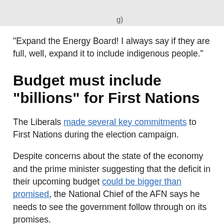g)
"Expand the Energy Board! I always say if they are full, well, expand it to include indigenous people."
Budget must include "billions" for First Nations
The Liberals made several key commitments to First Nations during the election campaign.
Despite concerns about the state of the economy and the prime minister suggesting that the deficit in their upcoming budget could be bigger than promised, the National Chief of the AFN says he needs to see the government follow through on its promises.